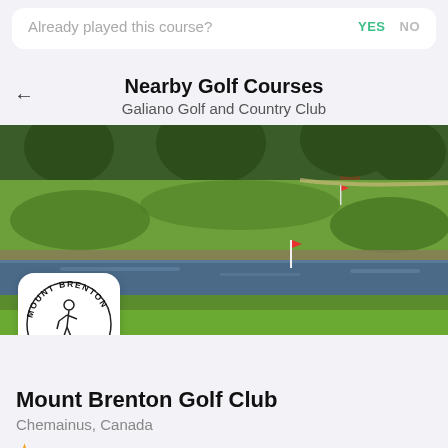Already played this course? YES NO
Nearby Golf Courses
Galiano Golf and Country Club
[Figure (photo): Aerial view of a golf course with green fairways, trees, and a water hazard/pond in the middle ground]
[Figure (logo): Mount Brenton Golf Course circular logo with golfer illustration, EST 1945]
Mount Brenton Golf Club
Chemainus, Canada